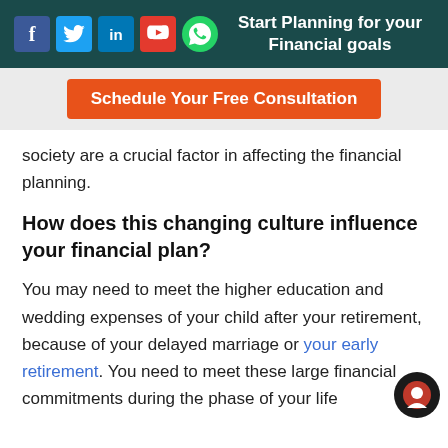Start Planning for your Financial goals
Schedule Your Free Consultation
society are a crucial factor in affecting the financial planning.
How does this changing culture influence your financial plan?
You may need to meet the higher education and wedding expenses of your child after your retirement, because of your delayed marriage or your early retirement. You need to meet these large financial commitments during the phase of your life